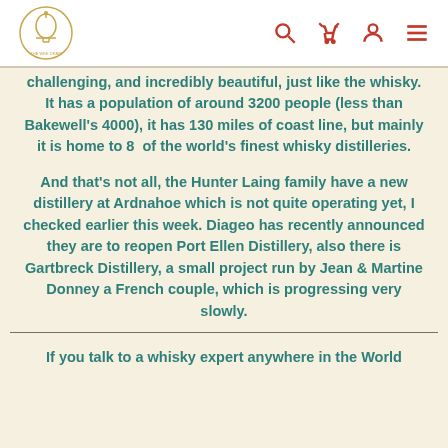The Wee Dram [logo] [search icon] [basket icon] [account icon] [menu icon]
challenging, and incredibly beautiful, just like the whisky. It has a population of around 3200 people (less than Bakewell's 4000), it has 130 miles of coast line, but mainly it is home to 8 of the world's finest whisky distilleries.
And that's not all, the Hunter Laing family have a new distillery at Ardnahoe which is not quite operating yet, I checked earlier this week. Diageo has recently announced they are to reopen Port Ellen Distillery, also there is Gartbreck Distillery, a small project run by Jean & Martine Donney a French couple, which is progressing very slowly.
If you talk to a whisky expert anywhere in the World